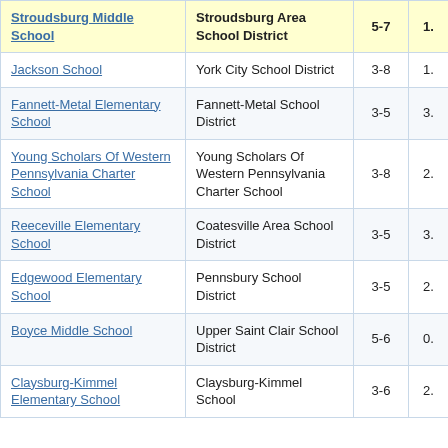| School | District | Grades |  |
| --- | --- | --- | --- |
| Stroudsburg Middle School | Stroudsburg Area School District | 5-7 | 1. |
| Jackson School | York City School District | 3-8 | 1. |
| Fannett-Metal Elementary School | Fannett-Metal School District | 3-5 | 3. |
| Young Scholars Of Western Pennsylvania Charter School | Young Scholars Of Western Pennsylvania Charter School | 3-8 | 2. |
| Reeceville Elementary School | Coatesville Area School District | 3-5 | 3. |
| Edgewood Elementary School | Pennsbury School District | 3-5 | 2. |
| Boyce Middle School | Upper Saint Clair School District | 5-6 | 0. |
| Claysburg-Kimmel Elementary School | Claysburg-Kimmel School | 3-6 | 2. |